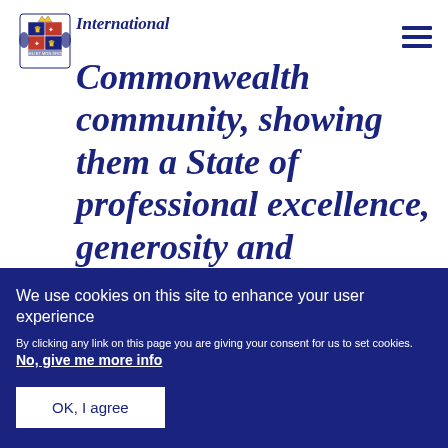[Figure (logo): UK Government Royal Coat of Arms logo in dark navy blue]
international Commonwealth community, showing them a State of professional excellence, generosity and goodwill.
We use cookies on this site to enhance your user experience
By clicking any link on this page you are giving your consent for us to set cookies. No, give me more info
OK, I agree